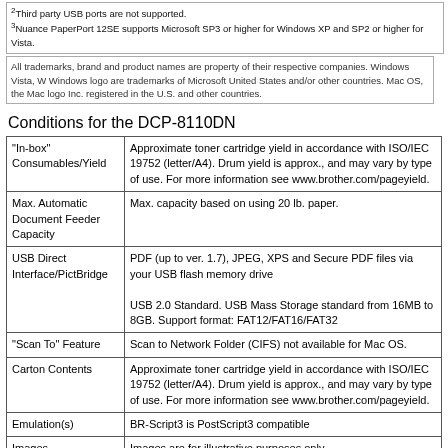2Third party USB ports are not supported.
3Nuance PaperPort 12SE supports Microsoft SP3 or higher for Windows XP and SP2 or higher for Vista.
All trademarks, brand and product names are property of their respective companies. Windows Vista, Windows logo are trademarks of Microsoft United States and/or other countries. Mac OS, the Mac logo Inc. registered in the U.S. and other countries.
Conditions for the DCP-8110DN
|  |  |
| --- | --- |
| "In-box" Consumables/Yield | Approximate toner cartridge yield in accordance with ISO/IEC 19752 (letter/A4). Drum yield is approx., and may vary by type of use. For more information see www.brother.com/pageyield. |
| Max. Automatic Document Feeder Capacity | Max. capacity based on using 20 lb. paper. |
| USB Direct Interface/PictBridge | PDF (up to ver. 1.7), JPEG, XPS and Secure PDF files via your USB flash memory drive

USB 2.0 Standard. USB Mass Storage standard from 16MB to 8GB. Support format: FAT12/FAT16/FAT32 |
| "Scan To" Feature | Scan to Network Folder (CIFS) not available for Mac OS. |
| Carton Contents | Approximate toner cartridge yield in accordance with ISO/IEC 19752 (letter/A4). Drum yield is approx., and may vary by type of use. For more information see www.brother.com/pageyield. |
| Emulation(s) | BR-Script3 is PostScript3 compatible |
| Images | Images are for illustrative purposes only. |
|  | Maximum number of printed pages per month and can be used to compare designed durability |